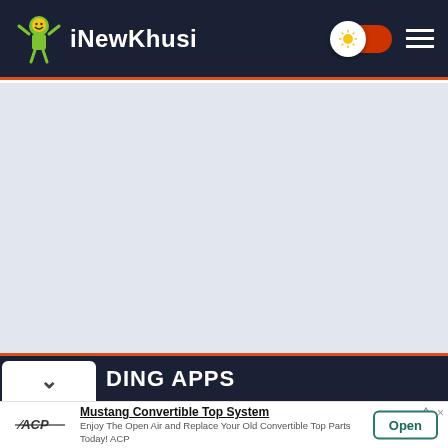iNewKhusi
[Figure (screenshot): Light gray empty content area placeholder]
DING APPS
[Figure (infographic): Advertisement banner: ACP logo, Mustang Convertible Top System ad with Open button]